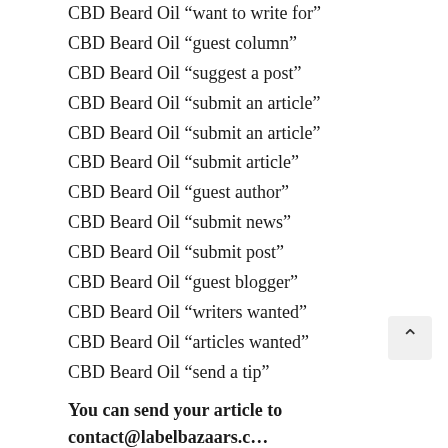CBD Beard Oil “want to write for”
CBD Beard Oil “guest column”
CBD Beard Oil “suggest a post”
CBD Beard Oil “submit an article”
CBD Beard Oil “submit an article”
CBD Beard Oil “submit article”
CBD Beard Oil “guest author”
CBD Beard Oil “submit news”
CBD Beard Oil “submit post”
CBD Beard Oil “guest blogger”
CBD Beard Oil “writers wanted”
CBD Beard Oil “articles wanted”
CBD Beard Oil “send a tip”
You can send your article to contact@labelbazaars.c…
Related Pages: